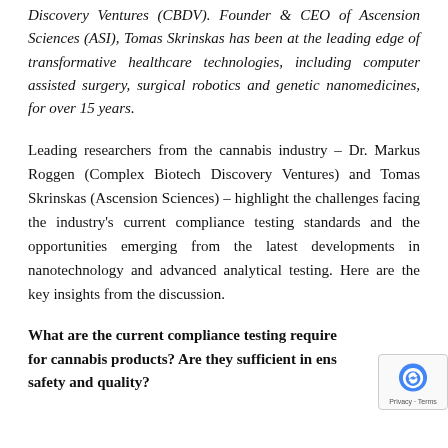Discovery Ventures (CBDV). Founder & CEO of Ascension Sciences (ASI), Tomas Skrinskas has been at the leading edge of transformative healthcare technologies, including computer assisted surgery, surgical robotics and genetic nanomedicines, for over 15 years.
Leading researchers from the cannabis industry – Dr. Markus Roggen (Complex Biotech Discovery Ventures) and Tomas Skrinskas (Ascension Sciences) – highlight the challenges facing the industry's current compliance testing standards and the opportunities emerging from the latest developments in nanotechnology and advanced analytical testing. Here are the key insights from the discussion.
What are the current compliance testing requirements for cannabis products? Are they sufficient in ensuring safety and quality?